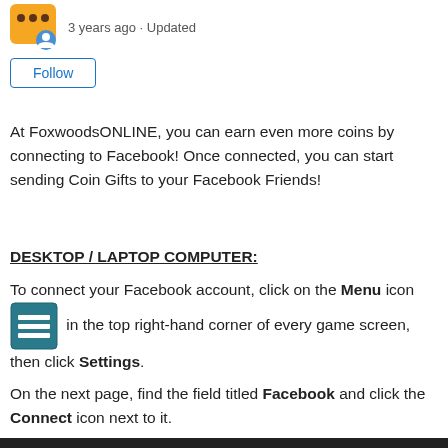3 years ago · Updated
Follow
At FoxwoodsONLINE, you can earn even more coins by connecting to Facebook! Once connected, you can start sending Coin Gifts to your Facebook Friends!
DESKTOP / LAPTOP COMPUTER:
To connect your Facebook account, click on the Menu icon [menu icon image] in the top right-hand corner of every game screen, then click Settings.
On the next page, find the field titled Facebook and click the Connect icon next to it.